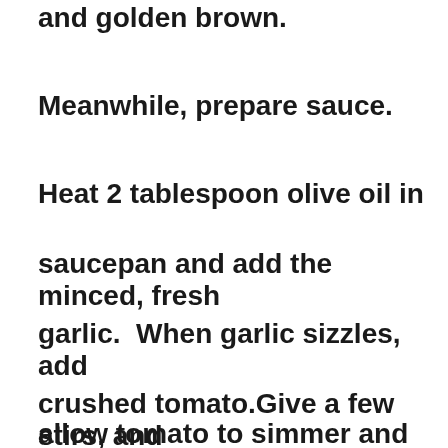and golden brown.
Meanwhile, prepare sauce.
Heat 2 tablespoon olive oil in saucepan and add the minced, fresh garlic.  When garlic sizzles, add crushed tomato.Give a few stirs, and allow tomato to simmer and cook on low heat for about 10 minutes, until the